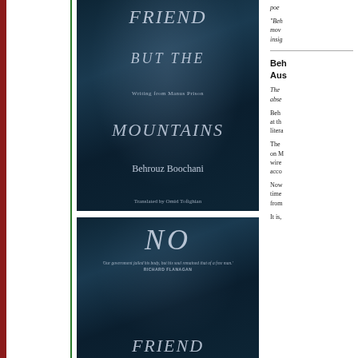[Figure (photo): Book cover of 'No Friend But The Mountains: Writing from Manus Prison' by Behrouz Boochani, translated by Omid Tofighian. Dark blue/teal cover with a close-up of a bearded man's face and italic serif title text.]
[Figure (photo): Second book cover (likely same or related book) showing 'NO' in large italic text, with a quote from Richard Flanagan and partial title 'FRIEND' at the bottom. Same dark atmospheric style.]
poetry
"Beh moving insig
Beh Aus
The abse
Beh at th litera
The on M wire acco
Now time from
It is,